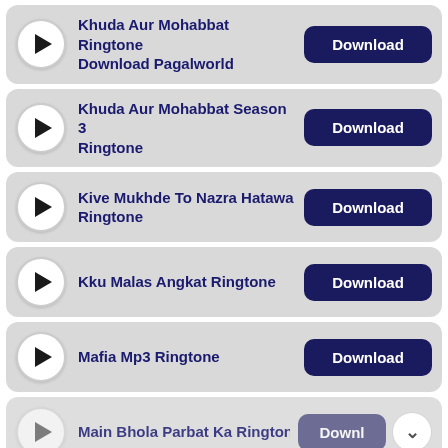Khuda Aur Mohabbat Ringtone Download Pagalworld — Download
Khuda Aur Mohabbat Season 3 Ringtone — Download
Kive Mukhde To Nazra Hatawa Ringtone — Download
Kku Malas Angkat Ringtone — Download
Mafia Mp3 Ringtone — Download
Main Bhola Parbat Ka Ringtone — Download